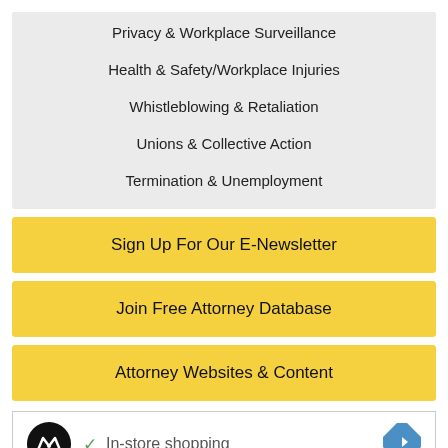Privacy & Workplace Surveillance
Health & Safety/Workplace Injuries
Whistleblowing & Retaliation
Unions & Collective Action
Termination & Unemployment
Sign Up For Our E-Newsletter
Join Free Attorney Database
Attorney Websites & Content
[Figure (screenshot): Advertisement with dark circular logo, checkmark, 'In-store shopping' text, and blue navigation arrow icon]